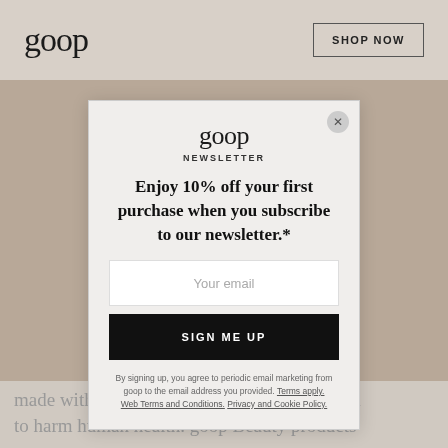goop   SHOP NOW
goop
NEWSLETTER
Enjoy 10% off your first purchase when you subscribe to our newsletter.*
Your email
SIGN ME UP
By signing up, you agree to periodic email marketing from goop to the email address you provided. Terms apply. Web Terms and Conditions. Privacy and Cookie Policy.
made without ingredients shown or suspected to harm human health. goop Beauty products